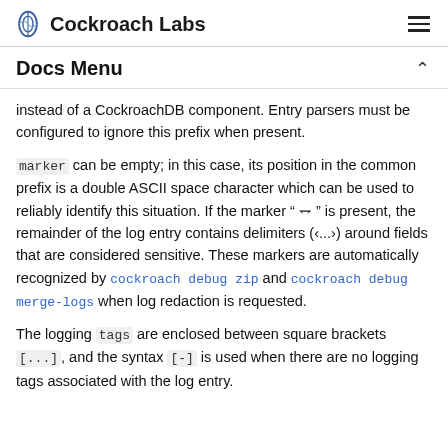Cockroach Labs
Docs Menu
instead of a CockroachDB component. Entry parsers must be configured to ignore this prefix when present.
marker can be empty; in this case, its position in the common prefix is a double ASCII space character which can be used to reliably identify this situation. If the marker " ¡ " is present, the remainder of the log entry contains delimiters (‹...›) around fields that are considered sensitive. These markers are automatically recognized by cockroach debug zip and cockroach debug merge-logs when log redaction is requested.
The logging tags are enclosed between square brackets [...], and the syntax [-] is used when there are no logging tags associated with the log entry.